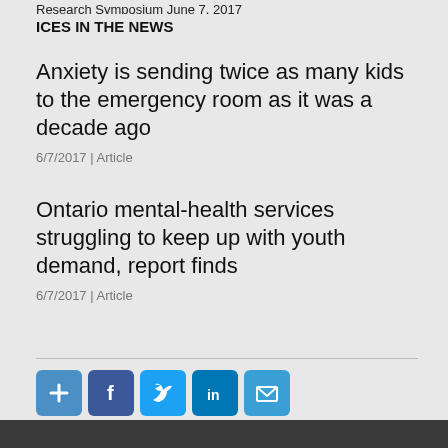Research Symposium June 7, 2017
ICES IN THE NEWS
Anxiety is sending twice as many kids to the emergency room as it was a decade ago
6/7/2017 | Article
Ontario mental-health services struggling to keep up with youth demand, report finds
6/7/2017 | Article
[Figure (infographic): Social sharing buttons: Share (plus icon), Facebook, Twitter, LinkedIn, Email]